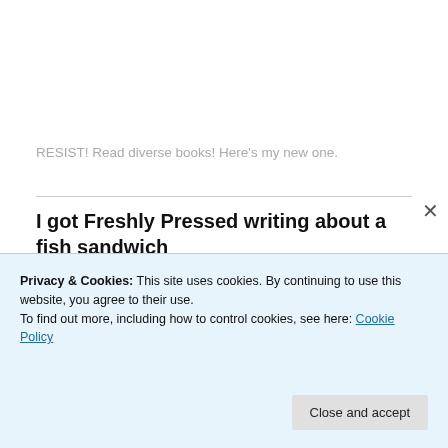RESIST! Read diverse books! Here's my new one.
I got Freshly Pressed writing about a fish sandwich
[Figure (logo): Freshly Pressed 'Featured On' circular badge in blue and white]
Privacy & Cookies: This site uses cookies. By continuing to use this website, you agree to their use.
To find out more, including how to control cookies, see here: Cookie Policy
Close and accept